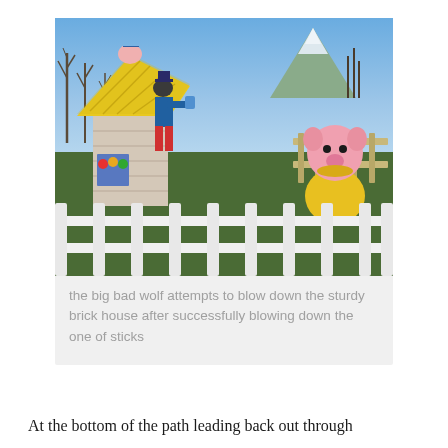[Figure (photo): Outdoor fairy-tale themed display showing a Big Bad Wolf character figure attempting to blow down a brick house with a yellow thatched roof, while a pink pig character in a yellow dress stands nearby. White wooden fence in foreground, bare trees and snow-capped mountain in background.]
the big bad wolf attempts to blow down the sturdy brick house after successfully blowing down the one of sticks
At the bottom of the path leading back out through